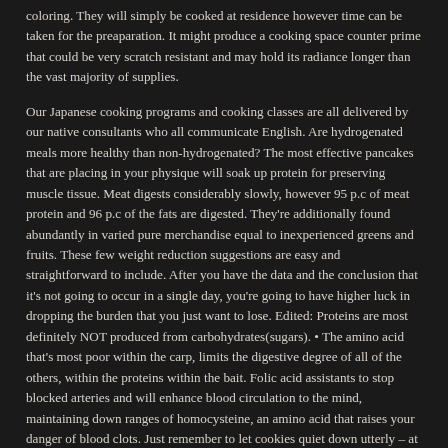coloring. They will simply be cooked at residence however time can be taken for the preaparation. It might produce a cooking space counter prime that could be very scratch resistant and may hold its radiance longer than the vast majority of supplies.
Our Japanese cooking programs and cooking classes are all delivered by our native consultants who all communicate English. Are hydrogenated meals more healthy than non-hydrogenated? The most effective pancakes that are placing in your physique will soak up protein for preserving muscle tissue. Meat digests considerably slowly, however 95 p.c of meat protein and 96 p.c of the fats are digested. They're additionally found abundantly in varied pure merchandise equal to inexperienced greens and fruits. These few weight reduction suggestions are easy and straightforward to include. After you have the data and the conclusion that it's not going to occur in a single day, you're going to have higher luck in dropping the burden that you just want to lose. Edited: Proteins are most definitely NOT produced from carbohydrates(sugars). • The amino acid that's most poor within the carp, limits the digestive degree of all of the others, within the proteins within the bait. Folic acid assistants to stop blocked arteries and will enhance blood circulation to the mind, maintaining down ranges of homocysteine, an amino acid that raises your danger of blood clots. Just remember to let cookies quiet down utterly – at the very least 15 minutes – earlier than eradicating them from the cookie sheet.